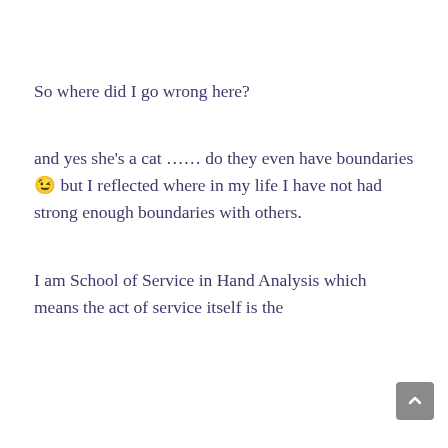So where did I go wrong here?
and yes she's a cat …… do they even have boundaries 😉 but I reflected where in my life I have not had strong enough boundaries with others.
I am School of Service in Hand Analysis which means the act of service itself is the